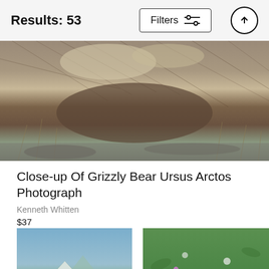Results: 53
[Figure (screenshot): Filters button with slider icon and up arrow scroll button in header bar]
[Figure (photo): Close-up of a grizzly bear Ursus Arctos showing fur and body detail with grass and rocks in background]
Close-up Of Grizzly Bear Ursus Arctos Photograph
Kenneth Whitten
$37
[Figure (photo): Brown bear standing in green meadow with mountains in background]
[Figure (photo): Grizzly bear cub looking over purple/pink fireweed flowers in green field]